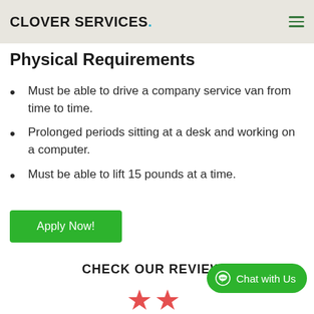Clover Services.
Physical Requirements
Must be able to drive a company service van from time to time.
Prolonged periods sitting at a desk and working on a computer.
Must be able to lift 15 pounds at a time.
Apply Now!
CHECK OUR REVIEWS
Chat with Us